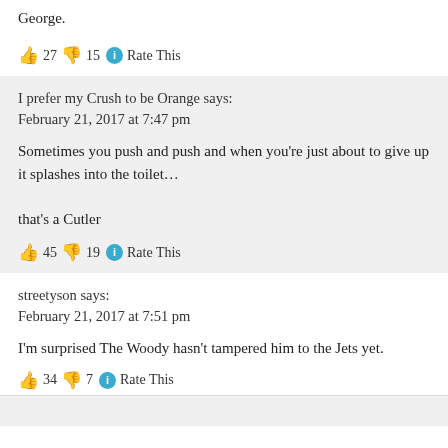George.
👍 27 👎 15 ℹ Rate This
I prefer my Crush to be Orange says:
February 21, 2017 at 7:47 pm
Sometimes you push and push and when you're just about to give up it splashes into the toilet…

that's a Cutler
👍 45 👎 19 ℹ Rate This
streetyson says:
February 21, 2017 at 7:51 pm
I'm surprised The Woody hasn't tampered him to the Jets yet.
👍 34 👎 7 ℹ Rate This